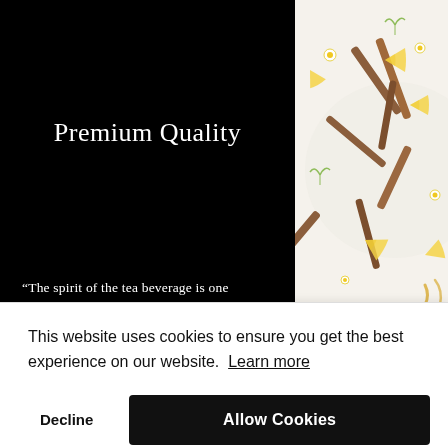[Figure (photo): Left: black panel with white text 'Premium Quality' and a partial quote. Right: overhead photo of tea/spice ingredients including cinnamon sticks, lemon slices, and chamomile flowers on a white background arranged in a circular pattern.]
Premium Quality
“The spirit of the tea beverage is one
int
This website uses cookies to ensure you get the best experience on our website. Learn more
Decline
Allow Cookies